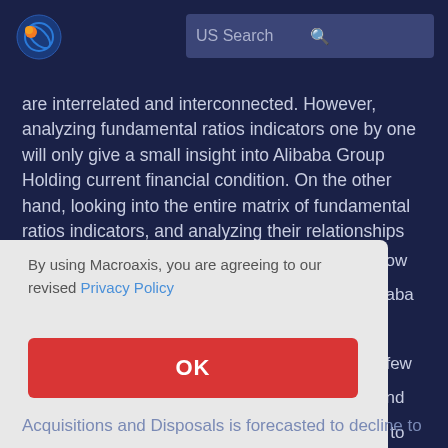US Search
are interrelated and interconnected. However, analyzing fundamental ratios indicators one by one will only give a small insight into Alibaba Group Holding current financial condition. On the other hand, looking into the entire matrix of fundamental ratios indicators, and analyzing their relationships over time can provide a more
now
baba
is
t few
and
d to
By using Macroaxis, you are agreeing to our revised Privacy Policy
OK
Acquisitions and Disposals is forecasted to decline to